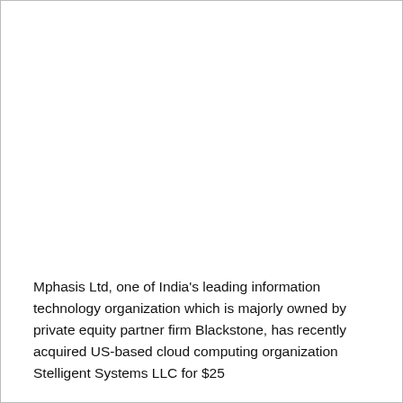Mphasis Ltd, one of India's leading information technology organization which is majorly owned by private equity partner firm Blackstone, has recently acquired US-based cloud computing organization Stelligent Systems LLC for $25...